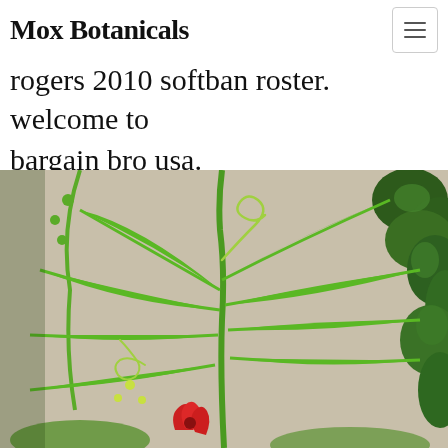Mox Botanicals
rogers 2010 softban roster. welcome to bargain bro usa.
[Figure (photo): Close-up photograph of a green climbing plant with long narrow leaves, a curling tendril, and a small red flower at the bottom, against a beige wall with ivy visible on the right side.]